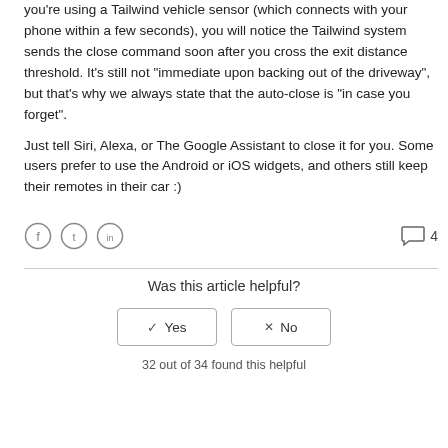you're using a Tailwind vehicle sensor (which connects with your phone within a few seconds), you will notice the Tailwind system sends the close command soon after you cross the exit distance threshold. It's still not "immediate upon backing out of the driveway", but that's why we always state that the auto-close is "in case you forget".
Just tell Siri, Alexa, or The Google Assistant to close it for you. Some users prefer to use the Android or iOS widgets, and others still keep their remotes in their car :)
[Figure (other): Social sharing icons (Facebook, Twitter, LinkedIn) and a comment count of 4]
Was this article helpful?
Yes / No buttons
32 out of 34 found this helpful